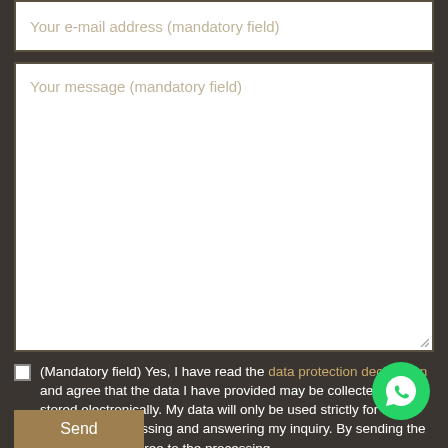Your e-mail address (mandatory field)
Your message (mandatory field)
(Mandatory field) Yes, I have read the data protection declaration and agree that the data I have provided may be collected and stored electronically. My data will only be used strictly for the purpose of processing and answering my inquiry. By sending the contact form, I agree to the processing.
Send